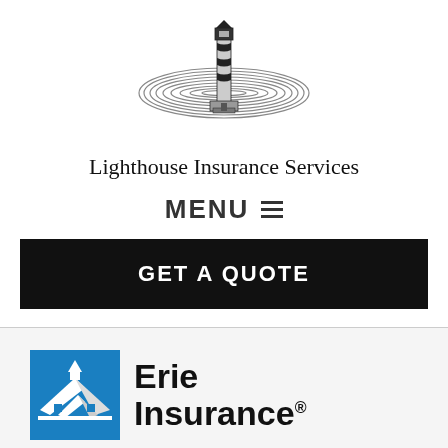[Figure (logo): Lighthouse Insurance Services logo: a lighthouse with horizontal elliptical sun/halo rays behind it, black and white illustration]
Lighthouse Insurance Services
MENU ≡
GET A QUOTE
[Figure (logo): Erie Insurance logo: blue square with white rooftop/building illustration, next to bold text 'Erie Insurance' with registered trademark symbol]